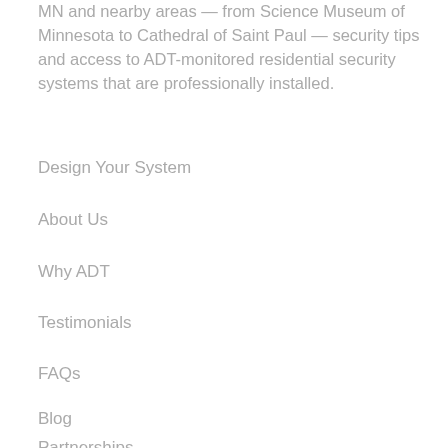MN and nearby areas — from Science Museum of Minnesota to Cathedral of Saint Paul — security tips and access to ADT-monitored residential security systems that are professionally installed.
Design Your System
About Us
Why ADT
Testimonials
FAQs
Blog
Partnerships